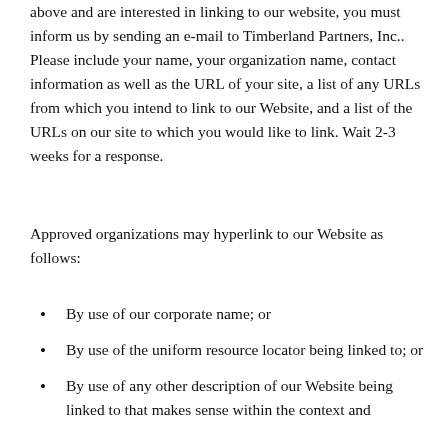above and are interested in linking to our website, you must inform us by sending an e-mail to Timberland Partners, Inc.. Please include your name, your organization name, contact information as well as the URL of your site, a list of any URLs from which you intend to link to our Website, and a list of the URLs on our site to which you would like to link. Wait 2-3 weeks for a response.
Approved organizations may hyperlink to our Website as follows:
By use of our corporate name; or
By use of the uniform resource locator being linked to; or
By use of any other description of our Website being linked to that makes sense within the context and